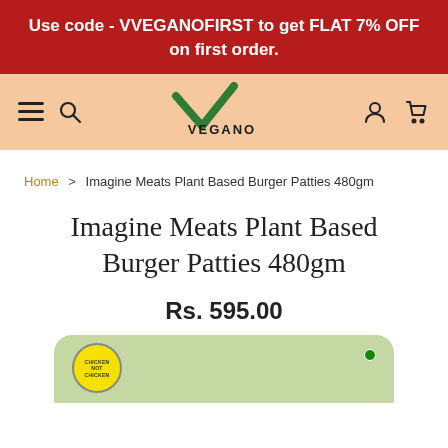Use code - VVEGANOFIRST to get FLAT 7% OFF on first order.
[Figure (logo): Vegano For The Planet logo with green checkmark V shape and brand name VEGANO FOR THE PLANET]
Home > Imagine Meats Plant Based Burger Patties 480gm
Imagine Meats Plant Based Burger Patties 480gm
Rs. 595.00
[Figure (photo): Product packaging of Imagine Meats Plant Based Burger Patties 480gm in a green box with a circular chicken-not-chicken badge]